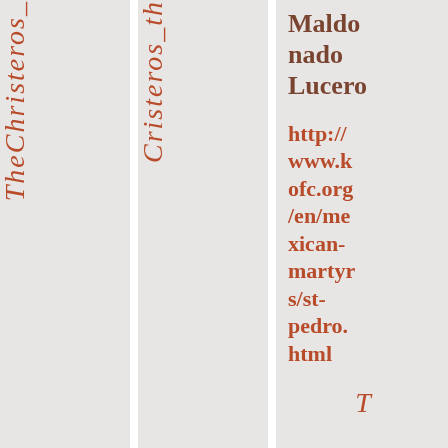TheChristeros_
Cristeros_th
Maldonado Lucero
http://www.kofc.org/en/mexican-martyrs/st-pedro.html
T